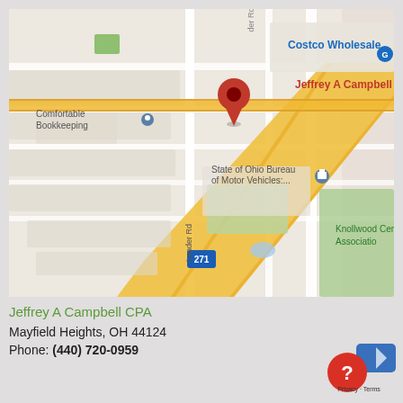[Figure (map): Google Maps screenshot showing the location of Jeffrey A Campbell CPA in Mayfield Heights, OH. Visible landmarks include Costco Wholesale, Comfortable Bookkeeping, State of Ohio Bureau of Motor Vehicles, Knollwood Cemetery Association, and Interstate 271. A red map pin marks the CPA office location on Lander Rd.]
Jeffrey A Campbell CPA
Mayfield Heights, OH 44124
Phone: (440) 720-0959